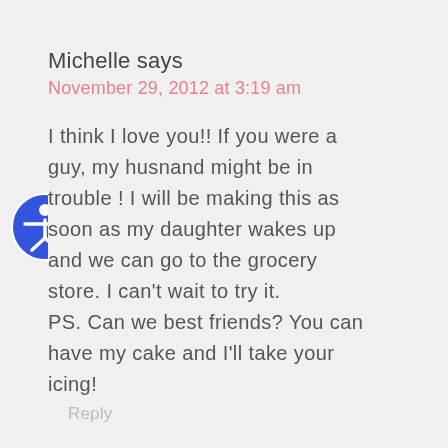Michelle says
November 29, 2012 at 3:19 am
I think I love you!! If you were a guy, my husnand might be in trouble ! I will be making this as soon as my daughter wakes up and we can go to the grocery store. I can't wait to try it. PS. Can we best friends? You can have my cake and I'll take your icing!
Reply